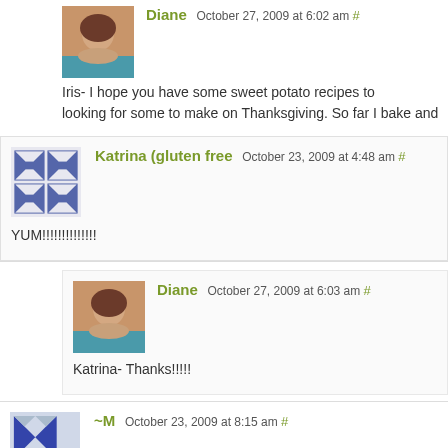Diane October 27, 2009 at 6:02 am # Iris- I hope you have some sweet potato recipes to looking for some to make on Thanksgiving. So far I bake and
Katrina (gluten free) October 23, 2009 at 4:48 am # YUM!!!!!!!!!!!!!!
Diane October 27, 2009 at 6:03 am # Katrina- Thanks!!!!!
~M October 23, 2009 at 8:15 am #